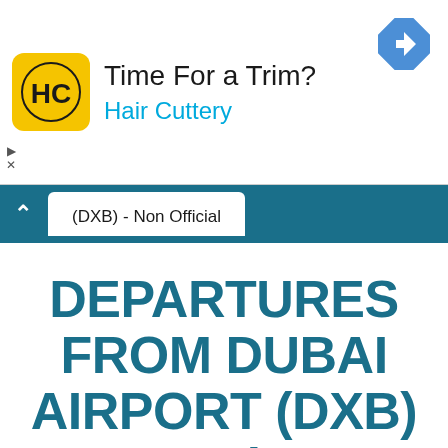[Figure (screenshot): Advertisement banner for Hair Cuttery with yellow HC logo, headline 'Time For a Trim?' and brand name 'Hair Cuttery' in blue, plus a blue diamond-shaped navigation icon in top right]
(DXB) - Non Official
DEPARTURES FROM DUBAI AIRPORT (DXB) - TODAY (18:00H TO 23:59H)